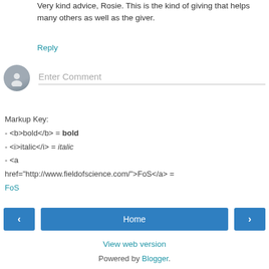Very kind advice, Rosie. This is the kind of giving that helps many others as well as the giver.
Reply
[Figure (other): User avatar placeholder icon (grey circle with silhouette) and Enter Comment input field]
Markup Key:
- <b>bold</b> = bold
- <i>italic</i> = italic
- <a href="http://www.fieldofscience.com/">FoS</a> = FoS
Home navigation bar with left arrow, Home button, and right arrow
View web version
Powered by Blogger.